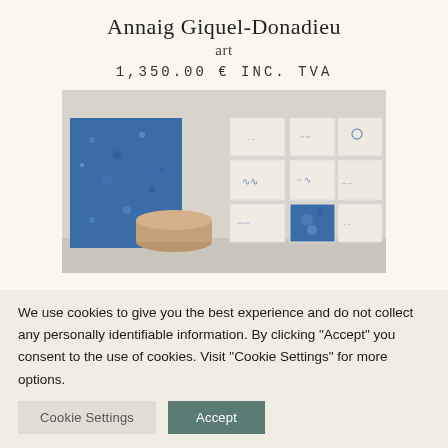Annaig Giquel-Donadieu
art
1,350.00 € INC. TVA
[Figure (photo): Gallery room showing a large blue abstract painting on the left wall and a grid of smaller blue-and-white sketch artworks on the right wall, with a round wooden stool in the foreground.]
We use cookies to give you the best experience and do not collect any personally identifiable information. By clicking "Accept" you consent to the use of cookies. Visit "Cookie Settings" for more options.
Cookie Settings
Accept